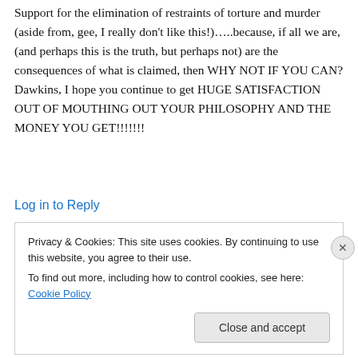Support for the elimination of restraints of torture and murder (aside from, gee, I really don't like this!)…..because, if all we are, (and perhaps this is the truth, but perhaps not) are the consequences of what is claimed, then WHY NOT IF YOU CAN? Dawkins, I hope you continue to get HUGE SATISFACTION OUT OF MOUTHING OUT YOUR PHILOSOPHY AND THE MONEY YOU GET!!!!!!!
Log in to Reply
Privacy & Cookies: This site uses cookies. By continuing to use this website, you agree to their use. To find out more, including how to control cookies, see here: Cookie Policy